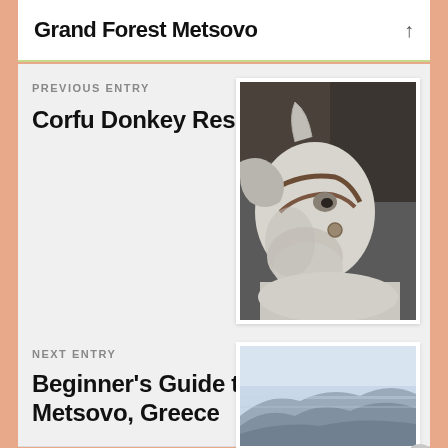Grand Forest Metsovo
PREVIOUS ENTRY
Corfu Donkey Rescue
[Figure (photo): Close-up photo of a white donkey with a harness/bridle, with darker donkeys visible in the background]
NEXT ENTRY
Beginner's Guide to Metsovo, Greece
[Figure (photo): Panoramic photo of mountain ridges in misty/hazy blue-grey tones, landscape of Metsovo Greece]
Advertisements